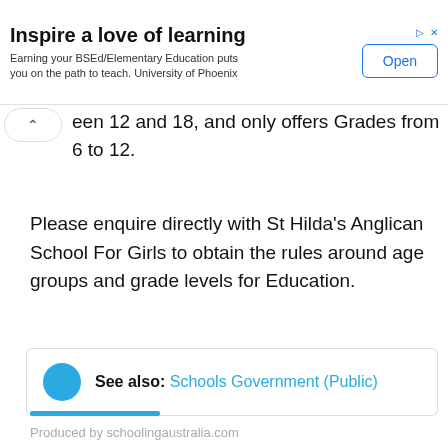[Figure (other): Advertisement banner: 'Inspire a love of learning' - Earning your BSEd/Elementary Education puts you on the path to teach. University of Phoenix. Open button.]
een 12 and 18, and only offers Grades from 6 to 12.
Please enquire directly with St Hilda's Anglican School For Girls to obtain the rules around age groups and grade levels for Education.
See also: Schools Government (Public)
Produced by schoolingaustralia.com